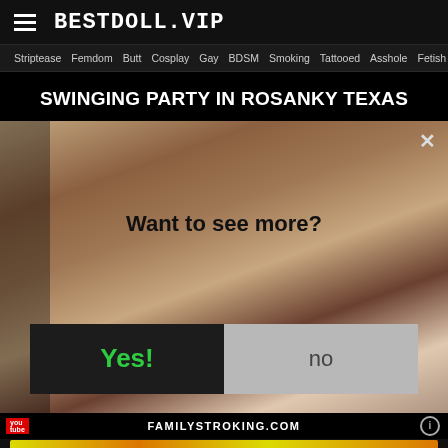BESTDOLL.VIP
Striptease  Femdom  Butt  Cosplay  Gay  BDSM  Smoking  Tattooed  Asshole  Fetish
SWINGING PARTY IN ROSANKY TEXAS
[Figure (photo): Blurred adult content photo with modal overlay asking 'Want to see more?' with Yes and No buttons and an X close button]
FAMILYSTROKING.COM